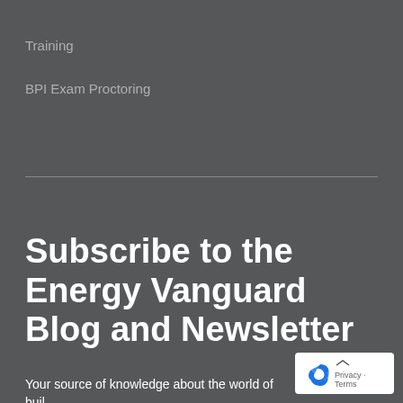Training
BPI Exam Proctoring
Subscribe to the Energy Vanguard Blog and Newsletter
Your source of knowledge about the world of buil…